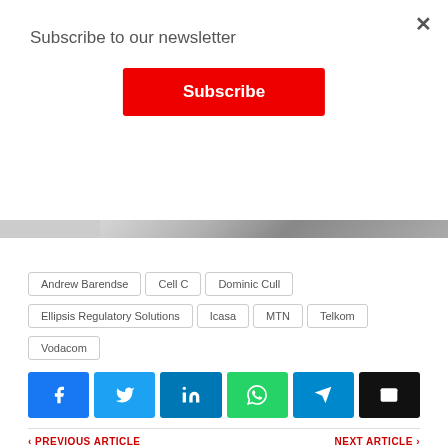Subscribe to our newsletter
Subscribe
[Figure (photo): Partial image of a laptop or device on a white surface]
Andrew Barendse
Cell C
Dominic Cull
Ellipsis Regulatory Solutions
Icasa
MTN
Telkom
Vodacom
[Figure (infographic): Social share buttons: Facebook, Twitter, LinkedIn, WhatsApp, Telegram, Email]
< PREVIOUS ARTICLE
NEXT ARTICLE >